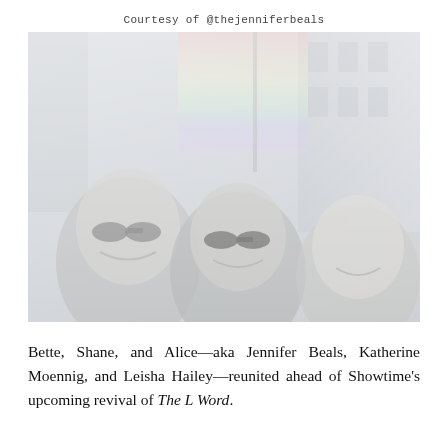Courtesy of @thejenniferbeals
[Figure (photo): A faded/washed-out selfie-style photo of three women smiling, with a rainbow pride flag visible above them and an urban street building in the background. The women are wearing sunglasses and appear to be outdoors at a Pride event.]
Bette, Shane, and Alice—aka Jennifer Beals, Katherine Moennig, and Leisha Hailey—reunited ahead of Showtime’s upcoming revival of The L Word.